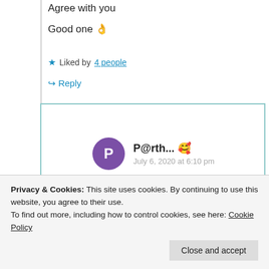Agree with you
Good one 👌
★ Liked by 4 people
↪ Reply
P@rth... 🥰
July 6, 2020 at 6:10 pm
Thank you so much 🥰🥰
Privacy & Cookies: This site uses cookies. By continuing to use this website, you agree to their use.
To find out more, including how to control cookies, see here: Cookie Policy
Close and accept